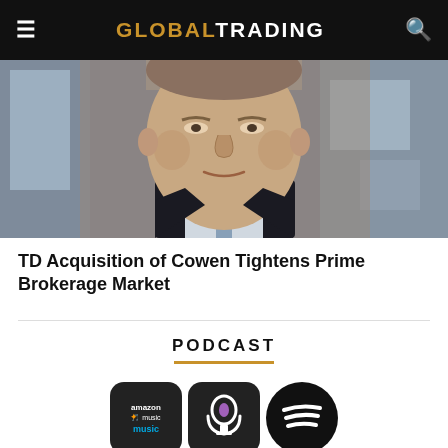GLOBAL TRADING
[Figure (photo): Cropped portrait photo of an older man in a dark suit, taken in what appears to be a trading floor or office environment with blurred background]
TD Acquisition of Cowen Tightens Prime Brokerage Market
PODCAST
[Figure (logo): Podcast platform icons: Amazon Music (rounded square, black), Apple Podcasts (rounded square, black), Spotify (circle, black)]